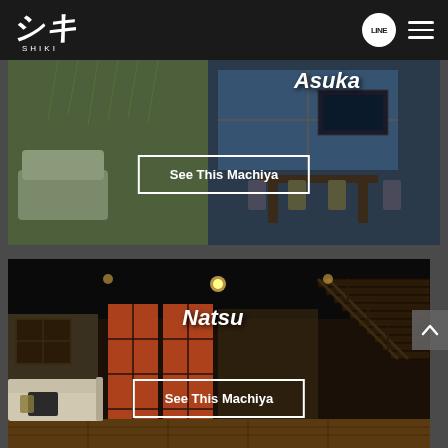[Figure (screenshot): SHIKI logo in white on black header background]
LINE
[Figure (screenshot): Asuka machiya interior - living room and dining area with green plant wall decor]
Asuka
See This Machiya
[Figure (screenshot): Natsu machiya interior - Japanese style room with orange shoji screens and wooden staircase]
Natsu
See This Machiya